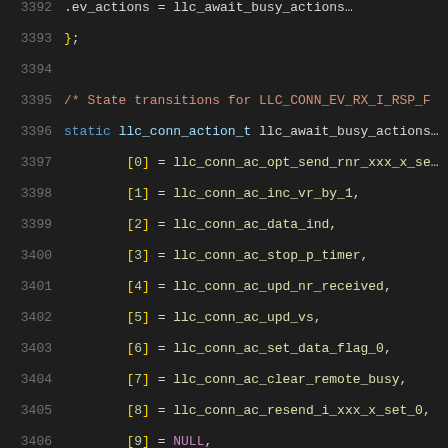Source code listing, lines 3392-3413, C kernel LLC connection state machine code
[Figure (screenshot): C source code showing LLC connection state transitions for LLC_CONN_EV_RX_I_RSP_F, with line numbers 3392-3413, dark background code editor style]